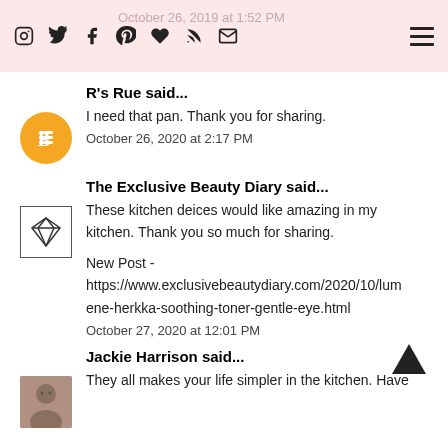October 26, 2019 at 1:52 PM [social media icons and hamburger menu]
R's Rue said...
I need that pan. Thank you for sharing.
October 26, 2020 at 2:17 PM
The Exclusive Beauty Diary said...
These kitchen deices would like amazing in my kitchen. Thank you so much for sharing.

New Post - https://www.exclusivebeautydiary.com/2020/10/lumene-herkka-soothing-toner-gentle-eye.html
October 27, 2020 at 12:01 PM
Jackie Harrison said...
They all makes your life simpler in the kitchen. Have